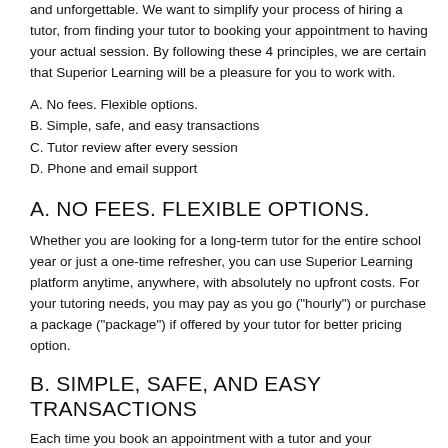and unforgettable. We want to simplify your process of hiring a tutor, from finding your tutor to booking your appointment to having your actual session. By following these 4 principles, we are certain that Superior Learning will be a pleasure for you to work with.
A. No fees. Flexible options.
B. Simple, safe, and easy transactions
C. Tutor review after every session
D. Phone and email support
A. NO FEES. FLEXIBLE OPTIONS.
Whether you are looking for a long-term tutor for the entire school year or just a one-time refresher, you can use Superior Learning platform anytime, anywhere, with absolutely no upfront costs. For your tutoring needs, you may pay as you go ("hourly") or purchase a package ("package") if offered by your tutor for better pricing option.
B. SIMPLE, SAFE, AND EASY TRANSACTIONS
Each time you book an appointment with a tutor and your